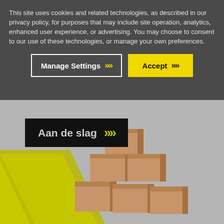This site uses cookies and related technologies, as described in our privacy policy, for purposes that may include site operation, analytics, enhanced user experience, or advertising. You may choose to consent to our use of these technologies, or manage your own preferences.
Manage Settings >>
Accept >>
[Figure (screenshot): Cookie consent banner overlay on a website showing a dark grey background with cookie policy text and two buttons: 'Manage Settings' (dark with white border) and 'Accept' (yellow). Below the banner is a website hero section with grey background, yellow diagonal stripe, a black button reading 'Aan de slag >>' and a stack of cardboard boxes.]